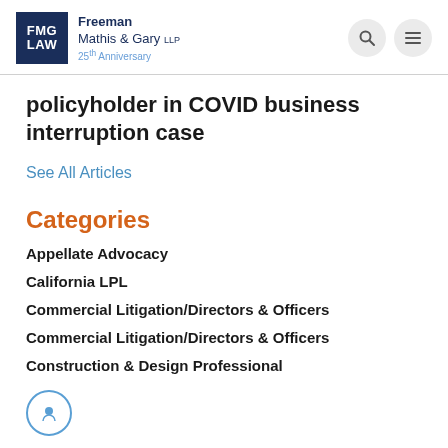FMG LAW — Freeman Mathis & Gary LLP — 25th Anniversary
policyholder in COVID business interruption case
See All Articles
Categories
Appellate Advocacy
California LPL
Commercial Litigation/Directors & Officers
Commercial Litigation/Directors & Officers
Construction & Design Professional